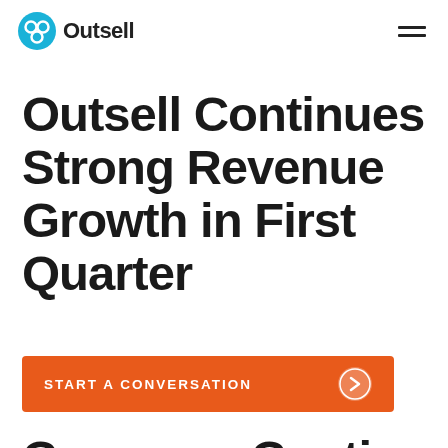Outsell
Outsell Continues Strong Revenue Growth in First Quarter
START A CONVERSATION →
Company Continues to